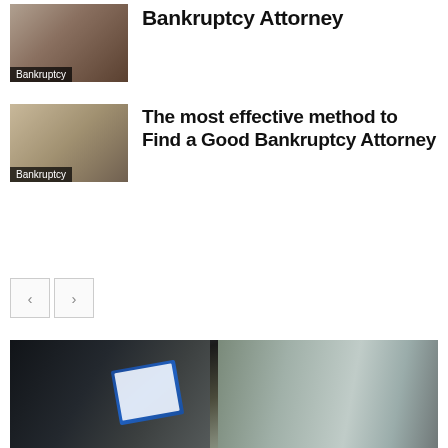[Figure (photo): Thumbnail image of people in an office or legal setting with a Bankruptcy label overlay]
Bankruptcy Attorney
[Figure (photo): Thumbnail image of two people shaking hands across a desk with a Bankruptcy label overlay]
The most effective method to Find a Good Bankruptcy Attorney
[Figure (other): Navigation pagination buttons with left and right arrows]
[Figure (photo): Large photo of a man in a suit writing on a clipboard while inspecting a damaged car hood]